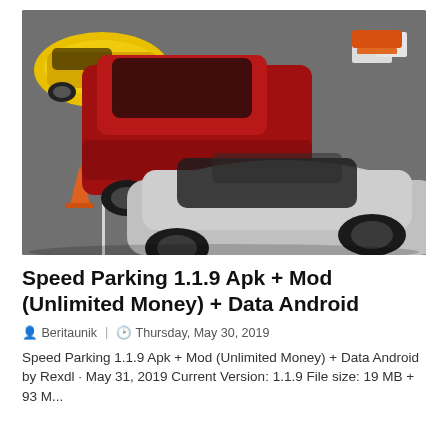[Figure (photo): Top-down view of toy/model cars in a parking lot scene: a red hatchback (center-left), a silver sports car (foreground), a yellow car (top-left), and orange traffic cones and white barriers visible.]
Speed Parking 1.1.9 Apk + Mod (Unlimited Money) + Data Android
Beritaunik  |  Thursday, May 30, 2019
Speed Parking 1.1.9 Apk + Mod (Unlimited Money) + Data Android by Rexdl · May 31, 2019 Current Version: 1.1.9 File size: 19 MB + 93 M...